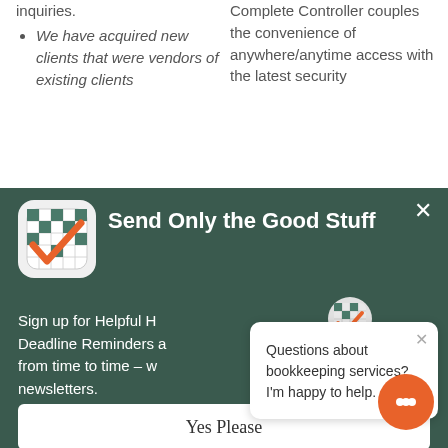inquiries.
We have acquired new clients that were vendors of existing clients
Complete Controller couples the convenience of anywhere/anytime access with the latest security
[Figure (screenshot): Dark green popup panel titled 'Send Only the Good Stuff' with crossword app icon, sign-up text, 'Yes Please' button, and a chat popup saying 'Questions about bookkeeping services? I'm happy to help.']
Send Only the Good Stuff
Sign up for Helpful H... Deadline Reminders a... from time to time – w... newsletters.
Questions about bookkeeping services? I'm happy to help.
Yes Please